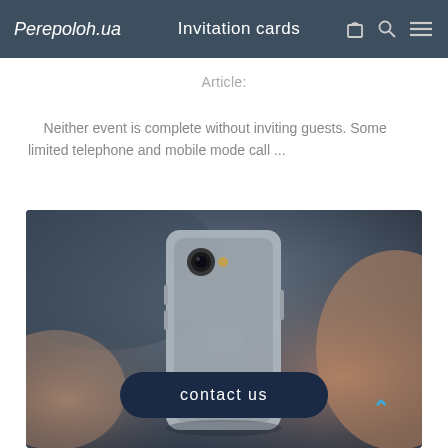Perepoloh.ua  Invitation cards
Article:
Neither event is complete without inviting guests. Some limited telephone and mobile mode call ...
[Figure (photo): A person holding a smartphone (viewed from behind), showing the back of an iPhone-style phone. The background is blurred with warm tones. A 'contact us' button overlays the bottom of the image.]
contact us